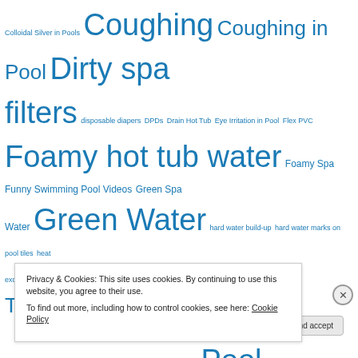Colloidal Silver in Pools Coughing Coughing in Pool Dirty spa filters disposable diapers DPDs Drain Hot Tub Eye Irritation in Pool Flex PVC Foamy hot tub water Foamy Spa Funny Swimming Pool Videos Green Spa Water Green Water hard water build-up hard water marks on pool tiles heat exchanger Heavy Spa Cover Hot Tub Temperatures Itching Skin. Leak in spa Ozone Ozone pool disinfecting plastic particles Pool Chemistry public swimming pool Pumice Stone pump seal Recreational Water Illness reusable diapers salt pools Scale build-up on tiles Skin Rash from Pool Water Smelly Hot Tub Cover Spa Chemical Directions Spa Chemistry Spa Heaters Spa pH Spa Repair Spa Sanitizer
Privacy & Cookies: This site uses cookies. By continuing to use this website, you agree to their use.
To find out more, including how to control cookies, see here: Cookie Policy